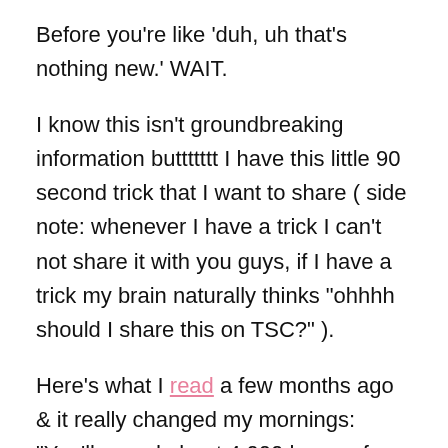Before you're like 'duh, uh that's nothing new.' WAIT.
I know this isn't groundbreaking information buttttttt I have this little 90 second trick that I want to share ( side note: whenever I have a trick I can't not share it with you guys, if I have a trick my brain naturally thinks "ohhhh should I share this on TSC?" ).
Here's what I read a few months ago & it really changed my mornings: "You'll spend about 4,000 hours of your adult life showering — possibly more time than you spend reading, exercising or watching TV — but chances are,